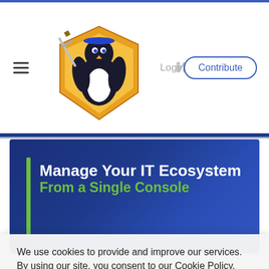Navigation bar with hamburger menu, Linux security penguin logo, social icons (Twitter, LinkedIn, RSS), Login link, and Contribute button
[Figure (illustration): Linux security mascot: a penguin holding a sword and shield with gold/blue coloring]
Manage Your IT Ecosystem From a Single Console
We use cookies to provide and improve our services. By using our site, you consent to our Cookie Policy.
Accept | Learn More About Our Cookie Policy